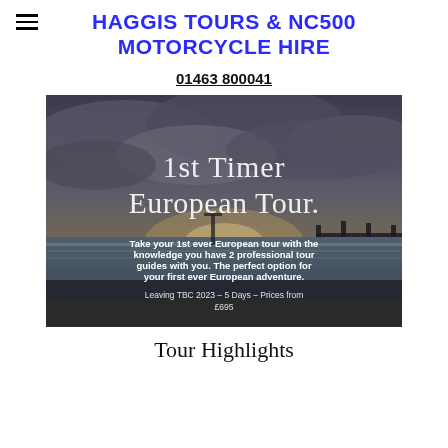HAGGIS TOURS & NC500 MOTORCYCLE HIRE
01463 800041
[Figure (photo): Promotional banner image for '1st Timer European Tour' with a seascape/coastal sunset background. White text overlay reads: '1st Timer European Tour. Take your 1st ever European tour with the knowledge you have 2 professional tour guides with you. The perfect option for your first ever European adventure. Leaving TBC 2023 – 5 Days – Prices from £695']
Tour Highlights